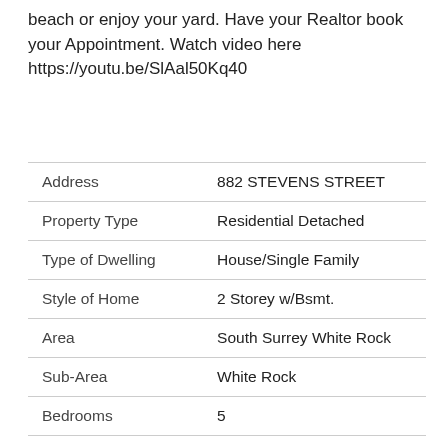beach or enjoy your yard. Have your Realtor book your Appointment. Watch video here https://youtu.be/SlAal50Kq40
|  |  |
| --- | --- |
| Address | 882 STEVENS STREET |
| Property Type | Residential Detached |
| Type of Dwelling | House/Single Family |
| Style of Home | 2 Storey w/Bsmt. |
| Area | South Surrey White Rock |
| Sub-Area | White Rock |
| Bedrooms | 5 |
| Bathrooms | 5 |
| Floor Area | 3,648 Sq. Ft. |